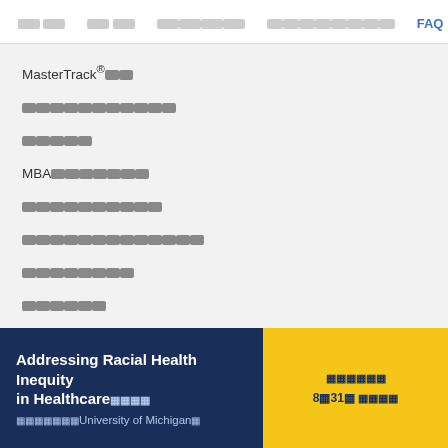[nav items] FAQ
MasterTrack® [chars]
[placeholder text]
[placeholder text]
MBA[placeholder text]
[placeholder text]
[placeholder text]
[placeholder text]
[placeholder text]
[placeholder text]
[placeholder text]
[placeholder text]
Addressing Racial Health Inequity in Healthcare [chars]
[chars]University of Michigan[char]
[chars] 8月31日 [chars]